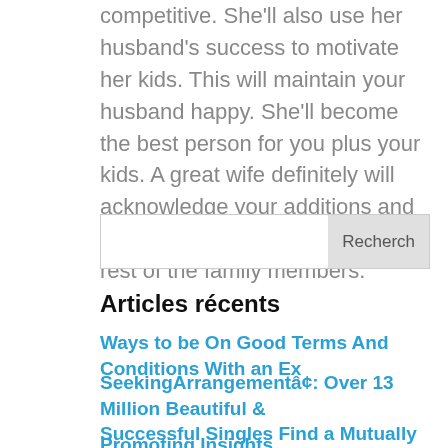competitive. She'll also use her husband's success to motivate her kids. This will maintain your husband happy. She'll become the best person for you plus your kids. A great wife definitely will acknowledge your additions and be ready to share them with the rest of the family members.
[Figure (other): Search input box with Recherch button]
Articles récents
Ways to be On Good Terms And Conditions With an Ex
SeekingArrangementâ¢: Over 13 Million Beautiful & Successful Singles Find a Mutually Beneficial Relationship
Promoting Insights